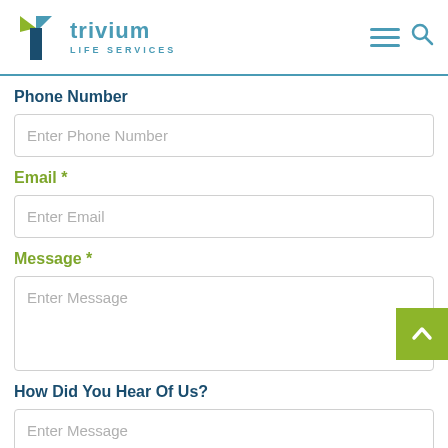[Figure (logo): Trivium Life Services logo with stylized T icon in teal and green, followed by 'trivium' in teal and 'LIFE SERVICES' below in smaller teal letters. Hamburger menu and search icon on the right.]
Phone Number
Enter Phone Number
Email *
Enter Email
Message *
Enter Message
How Did You Hear Of Us?
Enter Message